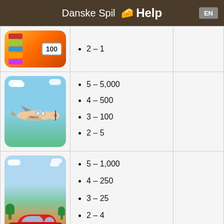Danske Spil 🧀 Help
[Figure (illustration): Partial view of a lottery/Fortune Wheel scratch card with colorful segments and '100' badge]
2 – 1
[Figure (illustration): Cartoon airplane (MEGA brand) flying over green field with clouds]
5 – 5,000
4 – 500
3 – 100
2 – 5
[Figure (illustration): Red sports car (MEGA brand) on sandy/dirt ground with green trees and blue sky]
5 – 1,000
4 – 250
3 – 25
2 – 4
[Figure (illustration): Partial view of another game image (cut off at bottom)]
5 – 500